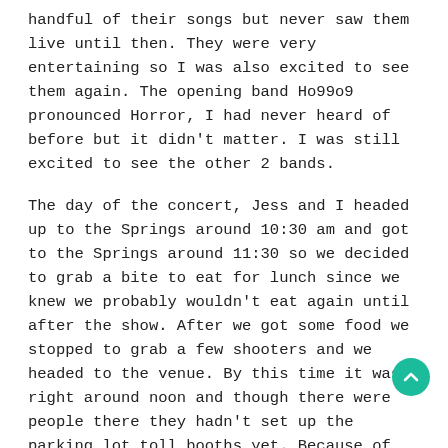handful of their songs but never saw them live until then. They were very entertaining so I was also excited to see them again. The opening band Ho99o9 pronounced Horror, I had never heard of before but it didn't matter. I was still excited to see the other 2 bands.
The day of the concert, Jess and I headed up to the Springs around 10:30 am and got to the Springs around 11:30 so we decided to grab a bite to eat for lunch since we knew we probably wouldn't eat again until after the show. After we got some food we stopped to grab a few shooters and we headed to the venue. By this time it was right around noon and though there were people there they hadn't set up the parking lot toll booths yet. Because of that we were able to drive right in and not have to pay which was kind nice that saved us $10.